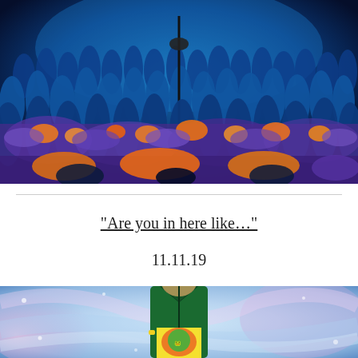[Figure (photo): Crowd of people wearing blue cloaks/ponchos gathered in a garden with orange and purple flowers at night under blue lighting, with a tall microphone stand in the center]
“Are you in here like…”
11.11.19
[Figure (photo): Person wearing a green jacket with a colorful graphic tee underneath, surrounded by swirling pastel colors]